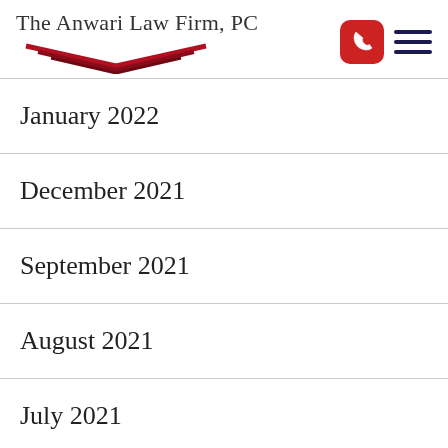The Anwari Law Firm, PC
January 2022
December 2021
September 2021
August 2021
July 2021